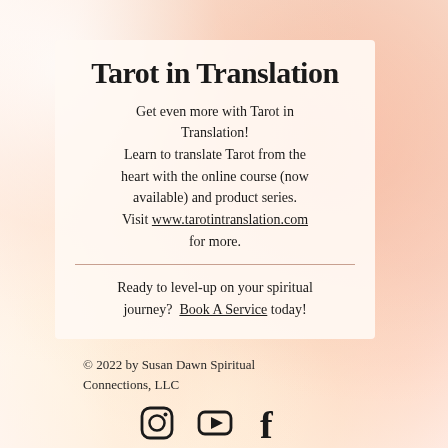Tarot in Translation
Get even more with Tarot in Translation! Learn to translate Tarot from the heart with the online course (now available) and product series. Visit www.tarotintranslation.com for more.
Ready to level-up on your spiritual journey?  Book A Service today!
© 2022 by Susan Dawn Spiritual Connections, LLC
[Figure (logo): Social media icons: Instagram, YouTube, Facebook]